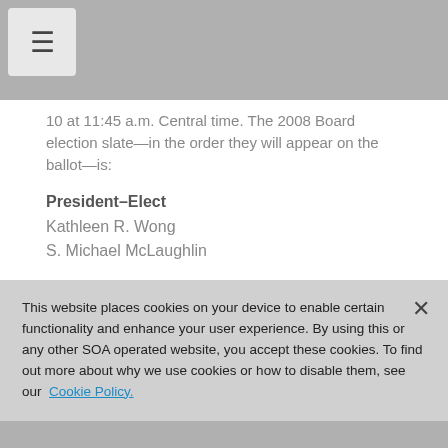[Figure (other): Hamburger menu icon button]
10 at 11:45 a.m. Central time. The 2008 Board election slate—in the order they will appear on the ballot—is:
President–Elect
Kathleen R. Wong
S. Michael McLaughlin
Vice President
Abraham S. Gootzeit
Tom Bakos
This website places cookies on your device to enable certain functionality and enhance your user experience. By using this or any other SOA operated website, you accept these cookies. To find out more about why we use cookies or how to disable them, see our Cookie Policy.